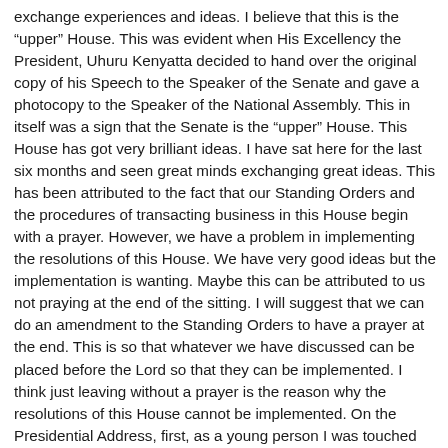exchange experiences and ideas. I believe that this is the “upper” House. This was evident when His Excellency the President, Uhuru Kenyatta decided to hand over the original copy of his Speech to the Speaker of the Senate and gave a photocopy to the Speaker of the National Assembly. This in itself was a sign that the Senate is the “upper” House. This House has got very brilliant ideas. I have sat here for the last six months and seen great minds exchanging great ideas. This has been attributed to the fact that our Standing Orders and the procedures of transacting business in this House begin with a prayer. However, we have a problem in implementing the resolutions of this House. We have very good ideas but the implementation is wanting. Maybe this can be attributed to us not praying at the end of the sitting. I will suggest that we can do an amendment to the Standing Orders to have a prayer at the end. This is so that whatever we have discussed can be placed before the Lord so that they can be implemented. I think just leaving without a prayer is the reason why the resolutions of this House cannot be implemented. On the Presidential Address, first, as a young person I was touched not by the literature that the President read on that day but by the gesture of being remorseful and apologetic to this nation. That touched me. Therefore, I support the handshake fully because we are alive to the fact that we are just from a very violent post-electioneering period. We lost lives and